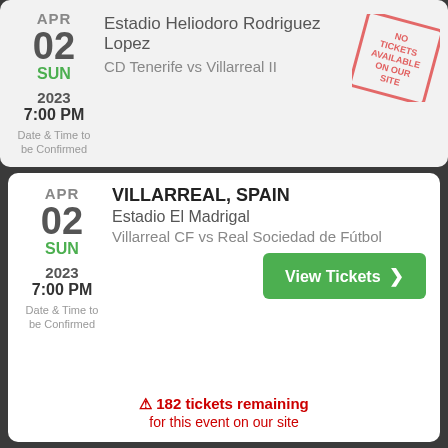APR 02 SUN 2023 7:00 PM Date & Time to be Confirmed
Estadio Heliodoro Rodriguez Lopez
CD Tenerife vs Villarreal II
[Figure (other): Stamp overlay text: NO TICKETS AVAILABLE ON OUR SITE]
VILLARREAL, SPAIN
Estadio El Madrigal
Villarreal CF vs Real Sociedad de Fútbol
APR 02 SUN 2023 7:00 PM Date & Time to be Confirmed
View Tickets
182 tickets remaining for this event on our site
46 people viewed this event in the past hour